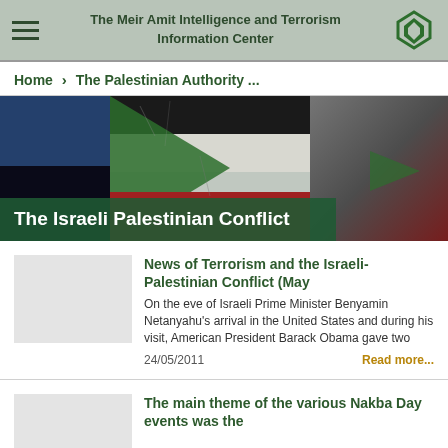The Meir Amit Intelligence and Terrorism Information Center
Home > The Palestinian Authority ...
[Figure (photo): Composite image showing the Palestinian flag (black, white, red, green) with cracked paint texture, used as hero banner for The Israeli Palestinian Conflict section]
The Israeli Palestinian Conflict
News of Terrorism and the Israeli-Palestinian Conflict (May
On the eve of Israeli Prime Minister Benyamin Netanyahu’s arrival in the United States and during his visit, American President Barack Obama gave two
24/05/2011
Read more...
The main theme of the various Nakba Day events was the